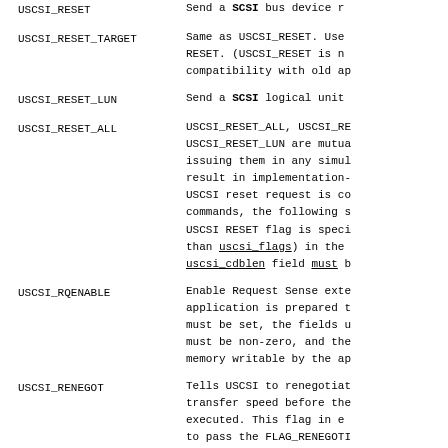USCSI_RESET	Send a SCSI bus device r...
USCSI_RESET_TARGET	Same as USCSI_RESET. Use RESET. (USCSI_RESET is n compatibility with old ap
USCSI_RESET_LUN	Send a SCSI logical unit
USCSI_RESET_ALL	USCSI_RESET_ALL, USCSI_R USCSI_RESET_LUN are mutua issuing them in any simul result in implementation- USCSI reset request is co commands, the following s USCSI RESET flag is speci than uscsi_flags) in the uscsi_cdblen field must b
USCSI_RQENABLE	Enable Request Sense exte application is prepared t must be set, the fields u must be non-zero, and the memory writable by the ap
USCSI_RENEGOT	Tells USCSI to renegotiat transfer speed before the executed. This flag in e to pass the FLAG_RENEGOTI packet before passing th